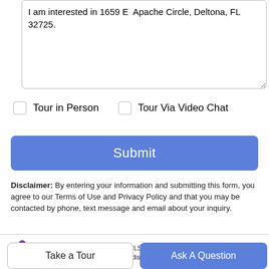I am interested in 1659 E Apache Circle, Deltona, FL 32725.
Tour in Person   Tour Via Video Chat
Submit
Disclaimer: By entering your information and submitting this form, you agree to our Terms of Use and Privacy Policy and that you may be contacted by phone, text message and email about your inquiry.
[Figure (logo): Stellar MLS logo — purple and teal leaf/flower shape]
© 2022 My Florida Regional MLS DBA Stellar MLS. All rights reserved. All listings displayed pursuant to
Take a Tour
Ask A Question